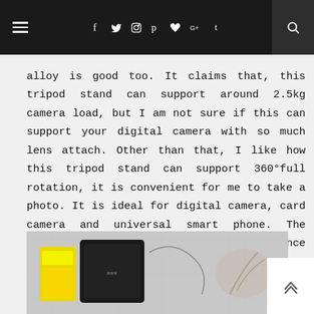Navigation bar with hamburger menu, social icons (f, Twitter, Instagram, Pinterest, heart, G+, Tumblr), and search icon
alloy is good too. It claims that, this tripod stand can support around 2.5kg camera load, but I am not sure if this can support your digital camera with so much lens attach. Other than that, I like how this tripod stand can support 360°full rotation, it is convenient for me to take a photo. It is ideal for digital camera, card camera and universal smart phone. The maximum height (1metre) is OK for me since I am using this for a leisure purpose. Overall, I like this tripod stand.
[Figure (photo): Partial photo of what appears to be electronic accessories/camera accessories including a yellow-packaged item and a black rectangular device on a light background]